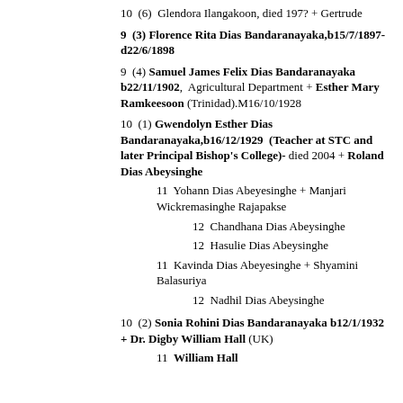10  (6)  Glendora Ilangakoon, died 197? + Gertrude
9  (3) Florence Rita Dias Bandaranayaka,b15/7/1897-d22/6/1898
9  (4) Samuel James Felix Dias Bandaranayaka b22/11/1902,  Agricultural Department + Esther Mary Ramkeesoon (Trinidad).M16/10/1928
10  (1) Gwendolyn Esther Dias Bandaranayaka,b16/12/1929  (Teacher at STC and later Principal Bishop's College)- died 2004 + Roland Dias Abeysinghe
11  Yohann Dias Abeyesinghe + Manjari Wickremasinghe Rajapakse
12  Chandhana Dias Abeysinghe
12  Hasulie Dias Abeysinghe
11  Kavinda Dias Abeyesinghe + Shyamini Balasuriya
12  Nadhil Dias Abeysinghe
10  (2) Sonia Rohini Dias Bandaranayaka b12/1/1932 + Dr. Digby William Hall (UK)
11  William Hall